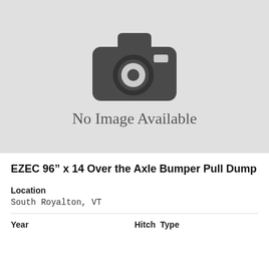[Figure (illustration): No Image Available placeholder with camera icon on grey background]
EZEC 96” x 14 Over the Axle Bumper Pull Dump
Location
South Royalton, VT
Year
Hitch Type